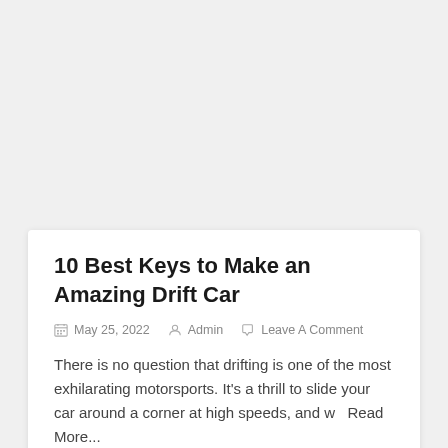10 Best Keys to Make an Amazing Drift Car
May 25, 2022   Admin   Leave A Comment
There is no question that drifting is one of the most exhilarating motorsports. It's a thrill to slide your car around a corner at high speeds, and w   Read More...